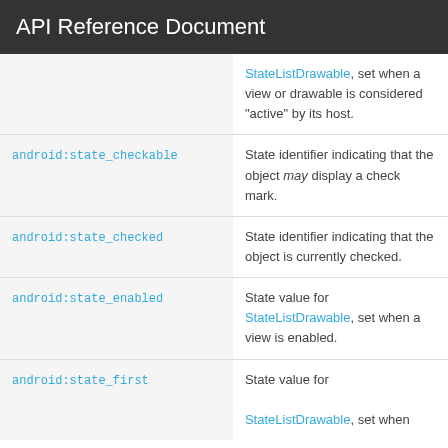API Reference Document
|  | StateListDrawable, set when a view or drawable is considered "active" by its host. |
| android:state_checkable | State identifier indicating that the object may display a check mark. |
| android:state_checked | State identifier indicating that the object is currently checked. |
| android:state_enabled | State value for StateListDrawable, set when a view is enabled. |
| android:state_first | State value for StateListDrawable, set when |